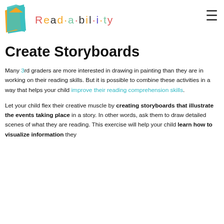Read-a-bil-i-ty
[Figure (photo): Partial photo of a child drawing or painting, serving as hero image behind the header]
Create Storyboards
Many 3rd graders are more interested in drawing in painting than they are in working on their reading skills. But it is possible to combine these activities in a way that helps your child improve their reading comprehension skills.
Let your child flex their creative muscle by creating storyboards that illustrate the events taking place in a story. In other words, ask them to draw detailed scenes of what they are reading. This exercise will help your child learn how to visualize information they